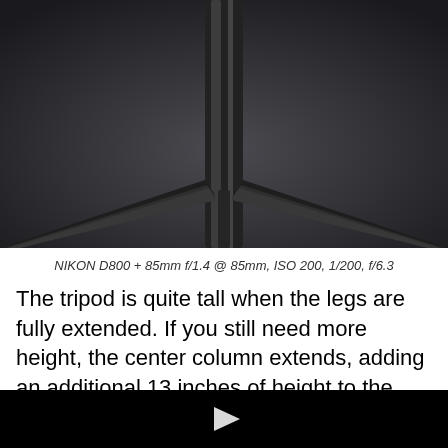[Figure (photo): Close-up photo of a tripod with legs spread and center column visible, shot against a dark grey background]
NIKON D800 + 85mm f/1.4 @ 85mm, ISO 200, 1/200, f/6.3
The tripod is quite tall when the legs are fully extended. If you still need more height, the center column extends, adding an additional 13 inches of height to the tripod. Fortunately, the center column is pretty stable when it's
[Figure (screenshot): Black video player area with a white play button triangle in the center]